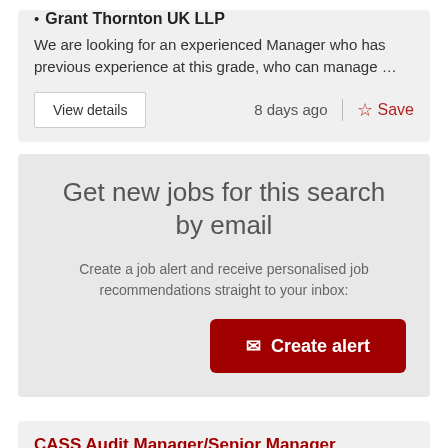Grant Thornton UK LLP
We are looking for an experienced Manager who has previous experience at this grade, who can manage …
View details    8 days ago   Save
Get new jobs for this search by email
Create a job alert and receive personalised job recommendations straight to your inbox:
Create alert
CASS Audit Manager/Senior Manager